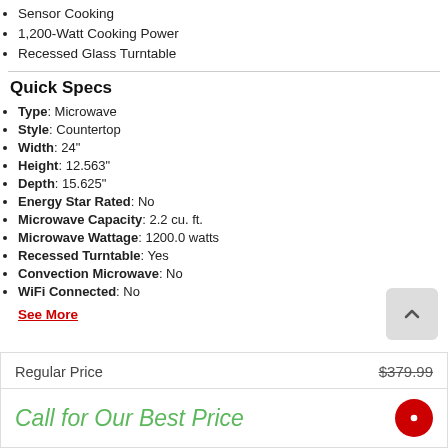Sensor Cooking
1,200-Watt Cooking Power
Recessed Glass Turntable
Quick Specs
Type: Microwave
Style: Countertop
Width: 24"
Height: 12.563"
Depth: 15.625"
Energy Star Rated: No
Microwave Capacity: 2.2 cu. ft.
Microwave Wattage: 1200.0 watts
Recessed Turntable: Yes
Convection Microwave: No
WiFi Connected: No
See More
Regular Price
$379.99
Call for Our Best Price